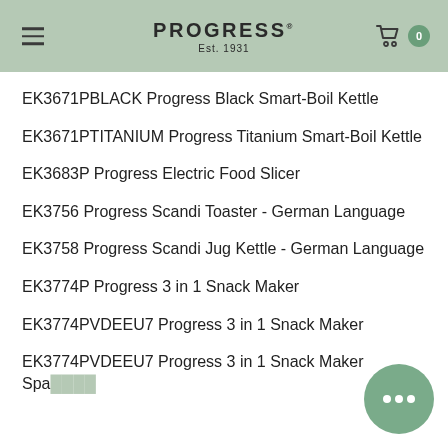PROGRESS Est. 1931
EK3671PBLACK Progress Black Smart-Boil Kettle
EK3671PTITANIUM Progress Titanium Smart-Boil Kettle
EK3683P Progress Electric Food Slicer
EK3756 Progress Scandi Toaster - German Language
EK3758 Progress Scandi Jug Kettle - German Language
EK3774P Progress 3 in 1 Snack Maker
EK3774PVDEEU7 Progress 3 in 1 Snack Maker
EK3774PVDEEU7 Progress 3 in 1 Snack Maker Spanish